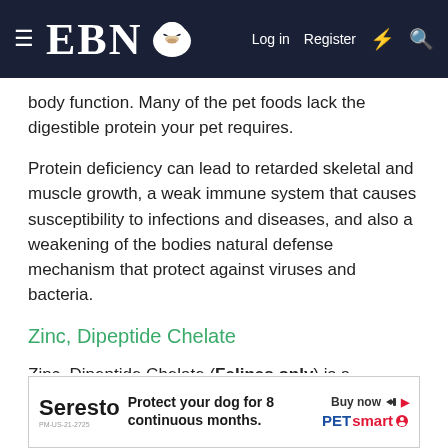EBN | Log in | Register
body function. Many of the pet foods lack the digestible protein your pet requires.
Protein deficiency can lead to retarded skeletal and muscle growth, a weak immune system that causes susceptibility to infections and diseases, and also a weakening of the bodies natural defense mechanism that protect against viruses and bacteria.
Zinc, Dipeptide Chelate
Zinc, Dipeptide Chelate (Felines only) is a component of nearly a hundred enzymes involved in major metabolic process, most of which work with the red blood cells to move carbon dioxide from the tissues to the lungs and important, promo... r
[Figure (screenshot): Seresto advertisement banner: Protect your dog for 8 continuous months. Buy now. PetSmart logo.]